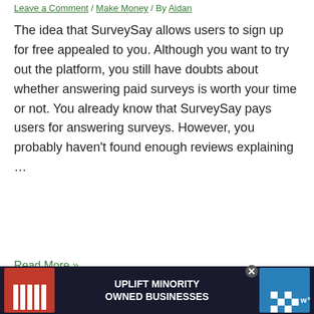Leave a Comment / Make Money / By Aidan
The idea that SurveySay allows users to sign up for free appealed to you. Although you want to try out the platform, you still have doubts about whether answering paid surveys is worth your time or not. You already know that SurveySay pays users for answering surveys. However, you probably haven't found enough reviews explaining …
Read More »
[Figure (screenshot): Advertisement banner at the bottom: dark background with 'UPLIFT MINORITY OWNED BUSINESSES' text in white, flanked by illustrated storefronts on left (red awning with white stripes) and right (blue checkered awning), with a close button (X) and a 'w°' logo on the right side.]